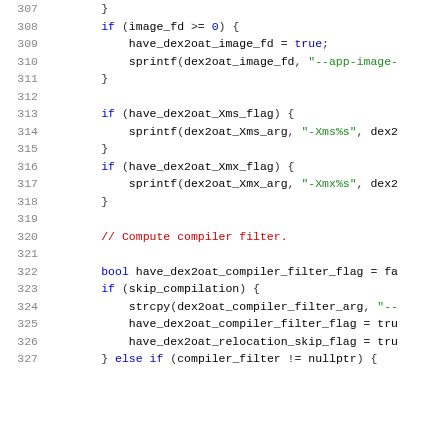[Figure (screenshot): Source code listing in C++ showing lines 307-327, with syntax highlighting. Line numbers in gray on left, keywords in blue, string literals in green, comments in red, identifiers in dark/black.]